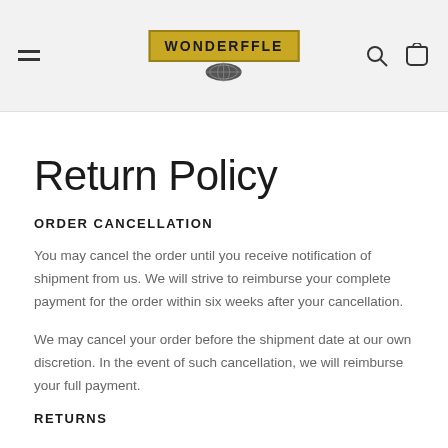WONDERFFLE
Return Policy
ORDER CANCELLATION
You may cancel the order until you receive notification of shipment from us. We will strive to reimburse your complete payment for the order within six weeks after your cancellation.
We may cancel your order before the shipment date at our own discretion. In the event of such cancellation, we will reimburse your full payment.
RETURNS